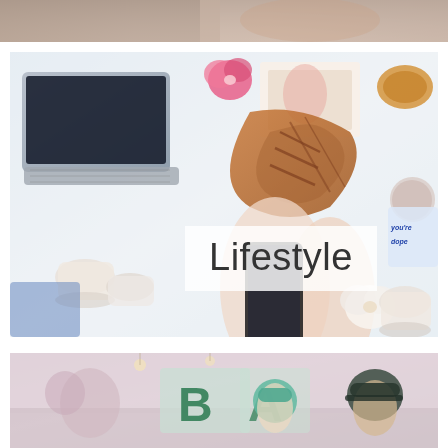[Figure (photo): Partial view of a lifestyle/fashion photo cropped at top of page]
[Figure (photo): Overhead flat-lay lifestyle photo showing a laptop, shoes, phone, flowers, coffee, and accessories on a white table. A semi-transparent white overlay in the center displays the word 'Lifestyle' in large light grey font.]
Lifestyle
[Figure (photo): Photo of people in what appears to be a cafe or shop interior, with signage visible in the background.]